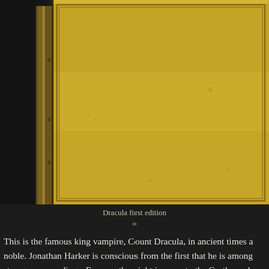[Figure (photo): Photograph of the Dracula first edition book cover, showing a worn yellow/gold cloth binding with decorative border, partially cropped at left and top edges. Dark background behind the book.]
Dracula first edition
*
This is the famous king vampire, Count Dracula, in ancient times a noble. Jonathan Harker is conscious from the first that he is among strange surroundings. Even on the night journey to the Castle, wolves which surround the carriage disappear when the terrible driver lifts his hand. On his arrival he is left waiting, and presently a tall old man, whom he suspects from the first to be none other than the driver himself, bids him welcome to his house. The Count talks with his guest. During the day he is absent, but during the night he comes in, breaking up the interview. There are no mirrors to be seen in any part of the building, and the young solicitor's fears are confirmed by the fact that when the Count comes unexpectedly to his bedroom and stands looking over his shoulder, there is no reflection of him in the small shaving glass Harker has brought, and which covers the whole room behind. The adventures of Jonath